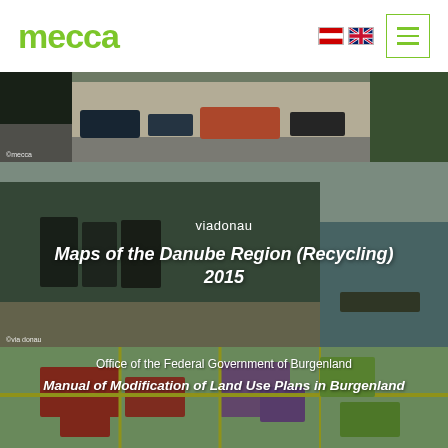[Figure (logo): mecca logo in green lowercase bold text]
[Figure (photo): Street scene with cars and buses, traffic in an urban setting]
©mecca
[Figure (photo): Viadonau Danube waterfront with recycling containers behind a fence, river in background]
viadonau
Maps of the Danube Region (Recycling)
2015
©via donau
[Figure (map): Colorful land use zoning map of Burgenland region showing parcels in red, purple, green, and yellow]
Office of the Federal Government of Burgenland
Manual of Modification of Land Use Plans in Burgenland